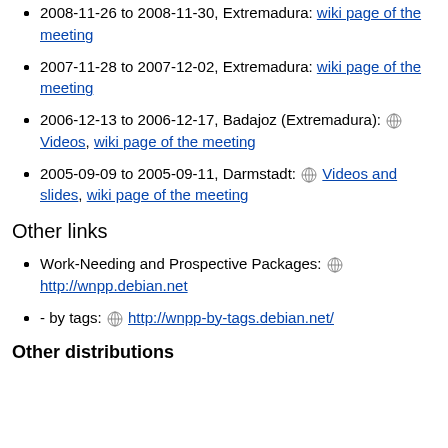2008-11-26 to 2008-11-30, Extremadura: wiki page of the meeting
2007-11-28 to 2007-12-02, Extremadura: wiki page of the meeting
2006-12-13 to 2006-12-17, Badajoz (Extremadura): Videos, wiki page of the meeting
2005-09-09 to 2005-09-11, Darmstadt: Videos and slides, wiki page of the meeting
Other links
Work-Needing and Prospective Packages: http://wnpp.debian.net
- by tags: http://wnpp-by-tags.debian.net/
Other distributions